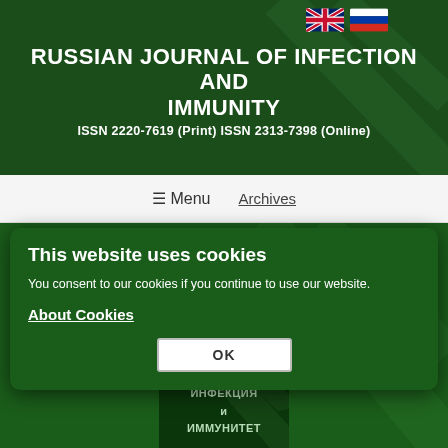RUSSIAN JOURNAL OF INFECTION AND IMMUNITY
ISSN 2220-7619 (Print) ISSN 2313-7398 (Online)
≡ Menu   Archives
Home > Archives > Vol 11, No 6 (2021) > Relationship between type III secretion toxins, biofilm formation, and antibiotic resistance in clinical Pseudomonas aeruginosa
Relationship between type III secretion toxins, biofilm formation, and antibiotic resistance in clinical Pseudomonas aeruginosa isolates
This website uses cookies
You consent to our cookies if you continue to use our website.
About Cookies
OK
ИНФЕКЦИЯ и ИММУНИТЕТ